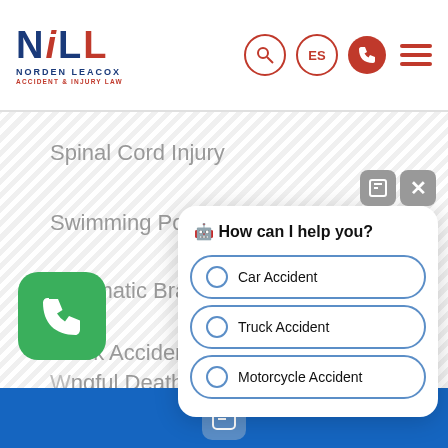[Figure (logo): Norden Leacox Accident & Injury Law logo with NL initials in red and blue]
[Figure (screenshot): Navigation icons: search, ES language, phone call, hamburger menu]
Spinal Cord Injury
Swimming Pool Accident
Traumatic Brain Injury
Truck Accident
Wrongful Death
[Figure (screenshot): Chat popup with 'How can I help you?' and options: Car Accident, Truck Accident, Motorcycle Accident]
[Figure (screenshot): Green phone call button in bottom left corner]
[Figure (screenshot): Blue footer bar with chat icon]